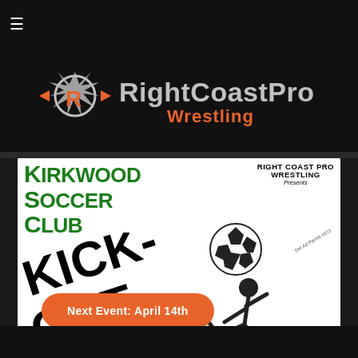≡ (hamburger menu)
[Figure (logo): RightCoastPro Wrestling logo with stylized R icon in orange and grey text on black background]
[Figure (illustration): Event flyer for Kirkwood Soccer Club and Right Coast Pro Wrestling 'Kick-Out' event on April 14th. Shows large green 'Kirkwood Soccer Club' text, 'KICK-OUT' diagonal text, soccer ball, stickman kicking figure, 'Next Event: April 14th' orange button, and 'Tickets: RightCoastPro.com' green text at bottom.]
[Figure (other): Dark section at bottom of page, possibly a video or additional content area]